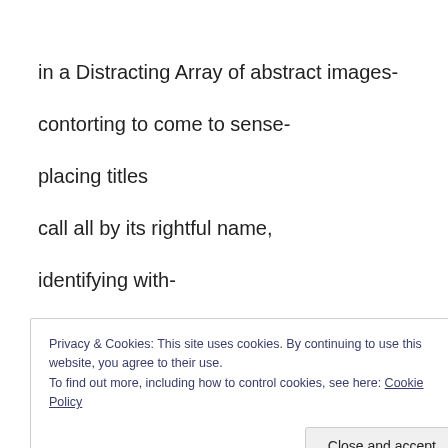in a Distracting Array of abstract images-
contorting to come to sense-
placing titles
call all by its rightful name,
identifying with-
Privacy & Cookies: This site uses cookies. By continuing to use this website, you agree to their use. To find out more, including how to control cookies, see here: Cookie Policy
Close and accept